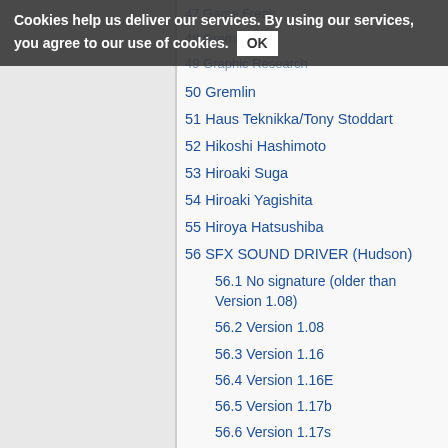Cookies help us deliver our services. By using our services, you agree to our use of cookies. OK
47 Game Freak
48 Gremlin
49 Graphic Research
50 Gremlin
51 Haus Teknikka/Tony Stoddart
52 Hikoshi Hashimoto
53 Hiroaki Suga
54 Hiroaki Yagishita
55 Hiroya Hatsushiba
56 SFX SOUND DRIVER (Hudson)
56.1 No signature (older than Version 1.08)
56.2 Version 1.08
56.3 Version 1.16
56.4 Version 1.16E
56.5 Version 1.17b
56.6 Version 1.17s
56.7 Ver 2.10
56.8 Ver 2.11
56.9 Ver 2.27b
56.10 Ver 2.28